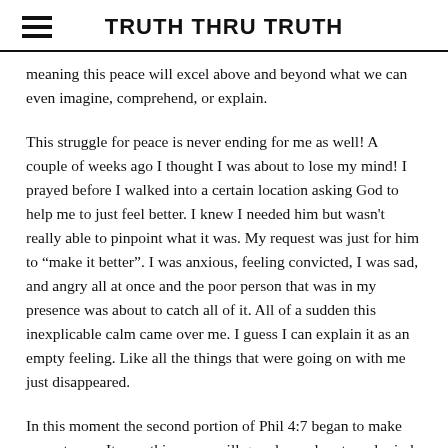TRUTH THRU TRUTH
meaning this peace will excel above and beyond what we can even imagine, comprehend, or explain.
This struggle for peace is never ending for me as well! A couple of weeks ago I thought I was about to lose my mind! I prayed before I walked into a certain location asking God to help me to just feel better. I knew I needed him but wasn't really able to pinpoint what it was. My request was just for him to “make it better”. I was anxious, feeling convicted, I was sad, and angry all at once and the poor person that was in my presence was about to catch all of it. All of a sudden this inexplicable calm came over me. I guess I can explain it as an empty feeling. Like all the things that were going on with me just disappeared.
In this moment the second portion of Phil 4:7 began to make sense to me. It says this peace will guard your hearts and minds